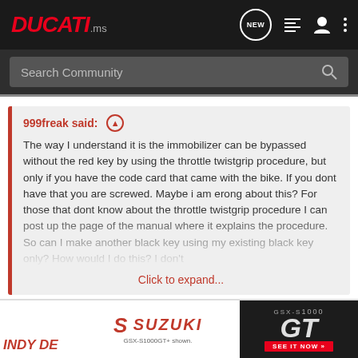DUCATI.ms
Search Community
999freak said: ↑

The way I understand it is the immobilizer can be bypassed without the red key by using the throttle twistgrip procedure, but only if you have the code card that came with the bike. If you dont have that you are screwed. Maybe i am erong about this? For those that dont know about the throttle twistgrip procedure I can post up the page of the manual where it explains the procedure. So can I make another black key using my existing black key only? How would I do this? I don't

Click to expand...
That's okay you FREAK 🙂 Nice xerox by the way.
[Figure (screenshot): Advertisement banner for Suzuki GSX-S1000 GT motorcycle with red Suzuki logo and GT model name on dark background]